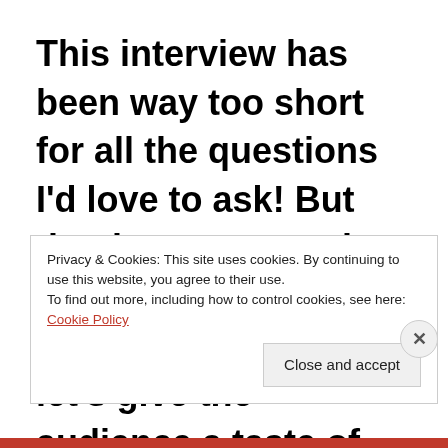This interview has been way too short for all the questions I'd love to ask! But thank you so much, Trish, for being here with me today. Now, let's give the audience a taste of your
Privacy & Cookies: This site uses cookies. By continuing to use this website, you agree to their use.
To find out more, including how to control cookies, see here: Cookie Policy
Close and accept